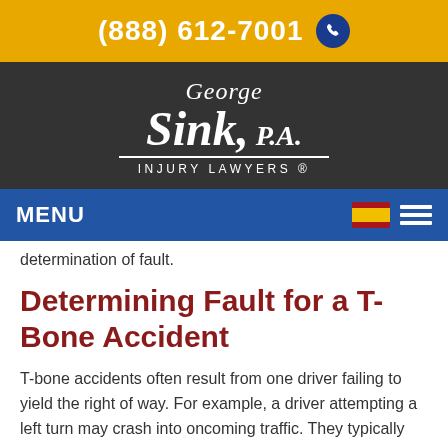(888) 612-7001
[Figure (logo): George Sink, P.A. Injury Lawyers logo on dark background]
MENU
determination of fault.
Determining Fault for a T-Bone Accident
T-bone accidents often result from one driver failing to yield the right of way. For example, a driver attempting a left turn may crash into oncoming traffic. They typically occur at